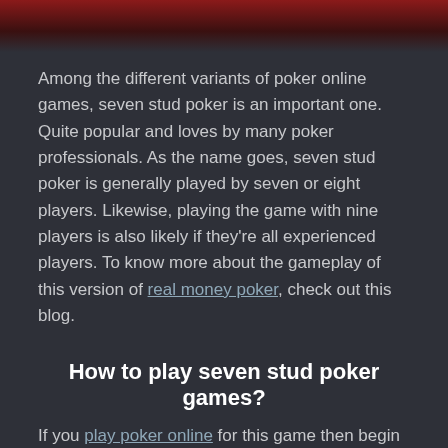[Figure (photo): Top portion of an image with dark red/maroon color, partially cropped at the top of the page]
Among the different variants of poker online games, seven stud poker is an important one. Quite popular and loves by many poker professionals. As the name goes, seven stud poker is generally played by seven or eight players. Likewise, playing the game with nine players is also likely if they're all experienced players. To know more about the gameplay of this version of real money poker, check out this blog.
How to play seven stud poker games?
If you play poker online for this game then begin the same with two cards among which one is face down, and one card face up. The player with the lowest ranked card starts